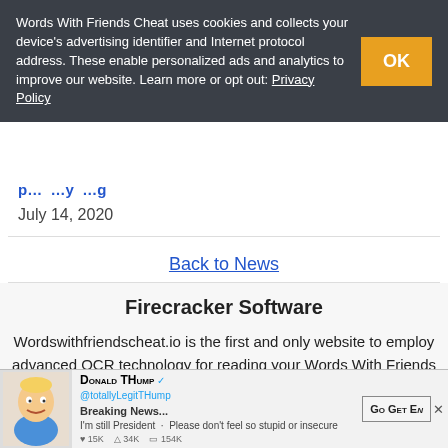Words With Friends Cheat uses cookies and collects your device's advertising identifier and Internet protocol address. These enable personalized ads and analytics to improve our website. Learn more or opt out: Privacy Policy
July 14, 2020
Back to News
Firecracker Software
Wordswithfriendscheat.io is the first and only website to employ advanced OCR technology for reading your Words With Friends board from a screenshot. While we have spent countless hours testing our OCR and help algorithms, it's impossible to test every Words With Friends board on every device and in every WWF game mode. Changelog a
[Figure (screenshot): Advertisement banner featuring Donald THump cartoon character with Go Get Em button]